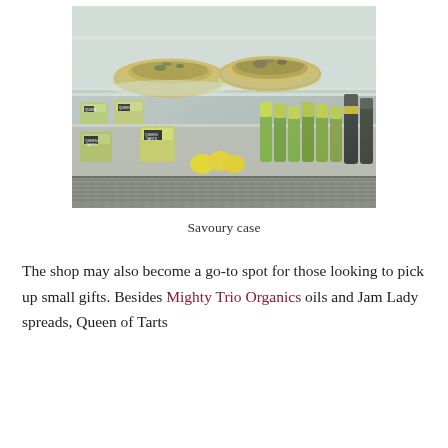[Figure (photo): A glass display case in a shop showing two savory tarts/quiches on the upper shelf, and on the lower shelf: green candles or wax melts labeled 'Queen of Tarts', yellow lemons, and green bottled oils/products on the right side.]
Savoury case
The shop may also become a go-to spot for those looking to pick up small gifts. Besides Mighty Trio Organics oils and Jam Lady spreads, Queen of Tarts